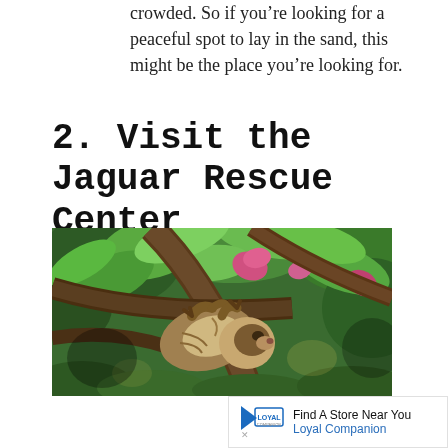crowded. So if you’re looking for a peaceful spot to lay in the sand, this might be the place you’re looking for.
2. Visit the Jaguar Rescue Center
[Figure (photo): A sloth hanging from tree branches in a lush green tropical setting with pink flowers visible in the background.]
[Figure (other): Advertisement banner: Loyal Companion logo with text 'Find A Store Near You' and 'Loyal Companion']